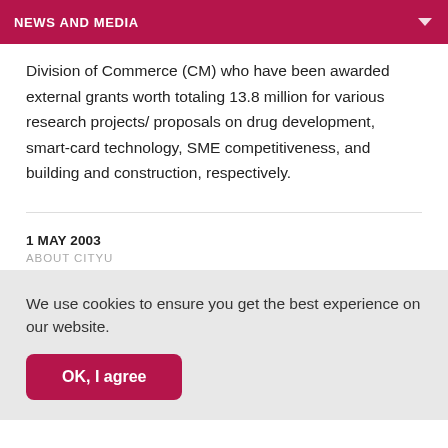NEWS AND MEDIA
Division of Commerce (CM) who have been awarded external grants worth totaling 13.8 million for various research projects/ proposals on drug development, smart-card technology, SME competitiveness, and building and construction, respectively.
1 MAY 2003
ABOUT CITYU
We use cookies to ensure you get the best experience on our website.
OK, I agree